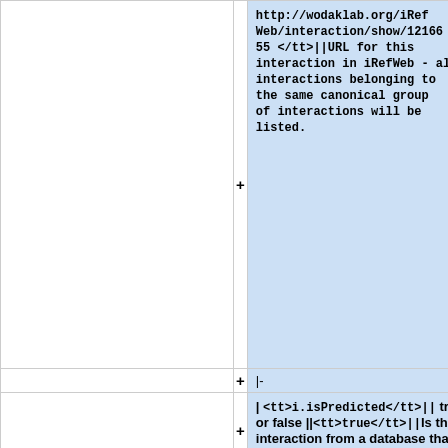|  | <tt>http://wodaklab.org/iRefWeb/interaction/show/1216655 </tt>||URL for this interaction in iRefWeb - all interactions belonging to the same canonical group of interactions will be listed. |
| |- | |- |
|  | | <tt>i.isPredicted</tt>|| true or false ||<tt>true</tt>||Is the interaction from a database that includes predicted interactions? |
| |- | |- |
| | <tt>i.method_cv</tt>||String||<tt>MI:0018</tt>||PSI-MI controlled vocabulary term identifier for the method used to provide evidence for this interaction. See | | <tt>i.method_cv</tt>||String||<tt>MI:0018</tt>||PSI-MI controlled vocabulary term identifier for the method used to provide evidence for this interaction. See |